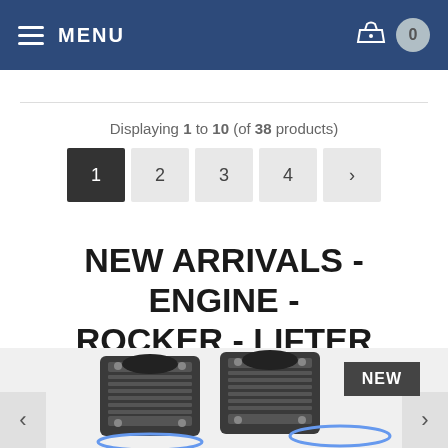MENU | Navigation bar with cart icon showing 0 items
Displaying 1 to 10 (of 38 products)
Pagination: 1 2 3 4 >
NEW ARRIVALS - ENGINE - ROCKER - LIFTER
[Figure (photo): Two engine cylinder barrels with blue gaskets and a NEW badge in the top right corner]